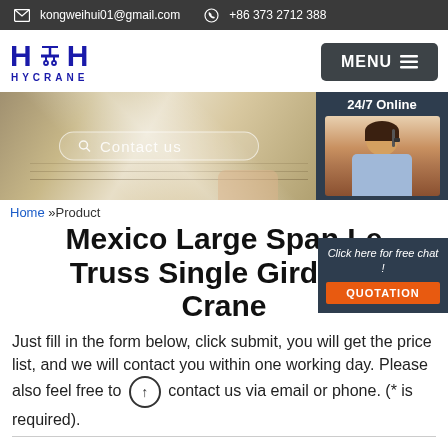kongweihui01@gmail.com  +86 373 2712 388
[Figure (screenshot): HYCRANE logo with crane icon in blue, and MENU button on right]
[Figure (photo): Hero banner with laptop/keyboard background, search bar overlay reading 'Contact us', and 24/7 Online chat widget with female customer service representative]
Home »Product
Mexico Large Span Le... Truss Single Girder G... Crane
Just fill in the form below, click submit, you will get the price list, and we will contact you within one working day. Please also feel free to contact us via email or phone. (* is required).